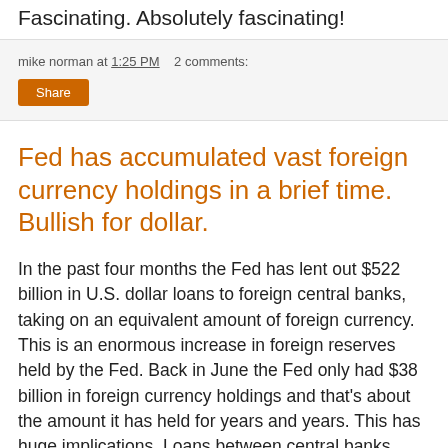Fascinating. Absolutely fascinating!
mike norman at 1:25 PM   2 comments:
Share
Fed has accumulated vast foreign currency holdings in a brief time. Bullish for dollar.
In the past four months the Fed has lent out $522 billion in U.S. dollar loans to foreign central banks, taking on an equivalent amount of foreign currency. This is an enormous increase in foreign reserves held by the Fed. Back in June the Fed only had $38 billion in foreign currency holdings and that's about the amount it has held for years and years. This has huge implications. Loans between central banks such as this must be repaid. And they must be repaid to the Fed in